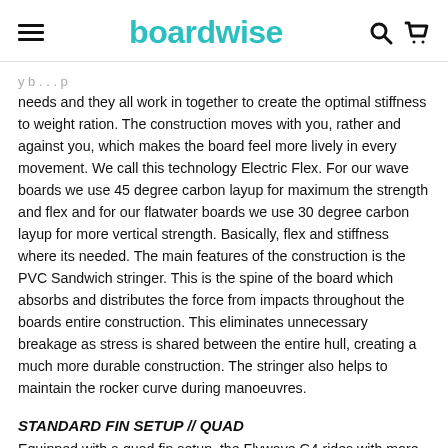boardwise
needs and they all work in together to create the optimal stiffness to weight ration. The construction moves with you, rather and against you, which makes the board feel more lively in every movement. We call this technology Electric Flex. For our wave boards we use 45 degree carbon layup for maximum the strength and flex and for our flatwater boards we use 30 degree carbon layup for more vertical strength. Basically, flex and stiffness where its needed. The main features of the construction is the PVC Sandwich stringer. This is the spine of the board which absorbs and distributes the force from impacts throughout the boards entire construction. This eliminates unnecessary breakage as stress is shared between the entire hull, creating a much more durable construction. The stringer also helps to maintain the rocker curve during manoeuvres.
STANDARD FIN SETUP // QUAD
Equipped with a quad fin setup, the Flywave G4 rides with more grip and